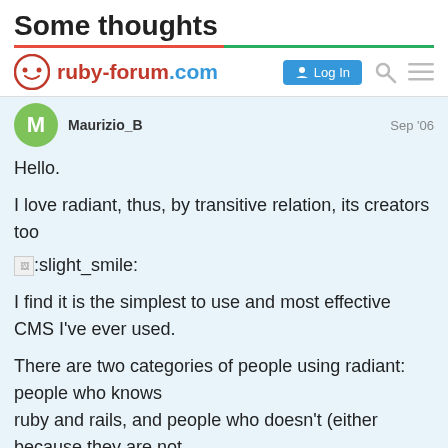Some thoughts
[Figure (screenshot): ruby-forum.com navigation bar with logo, Log In button, search icon, and menu icon]
Maurizio_B
Sep '06
Hello.

I love radiant, thus, by transitive relation, its creators too :slight_smile:

I find it is the simplest to use and most effective CMS I've ever used.

There are two categories of people using radiant: people who knows ruby and rails, and people who doesn't (either because they are not programmers or simply they have not enough time to study them).

Radiant should be friendly with both categ
1 / 3